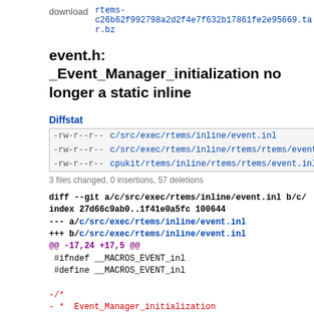download  rtems-c26b62f992798a2d2f4e7f632b17861fe2e95669.tar.bz
event.h: _Event_Manager_initialization no longer a static inline
Diffstat
| permissions | file | count | bar |
| --- | --- | --- | --- |
| -rw-r--r-- | c/src/exec/rtems/inline/event.inl | 19 |  |
| -rw-r--r-- | c/src/exec/rtems/inline/rtems/rtems/event.inl | 19 |  |
| -rw-r--r-- | cpukit/rtems/inline/rtems/rtems/event.inl | 19 |  |
3 files changed, 0 insertions, 57 deletions
diff --git a/c/src/exec/rtems/inline/event.inl b/c/
index 27d66c9ab0..1f41e0a5fc 100644
--- a/c/src/exec/rtems/inline/event.inl
+++ b/c/src/exec/rtems/inline/event.inl
@@ -17,24 +17,5 @@
 #ifndef __MACROS_EVENT_inl
 #define __MACROS_EVENT_inl

-/*
- *  Event_Manager_initialization
- *
- *  DESCRIPTION:
- *
- *  This routine performs the initialization neces
- *